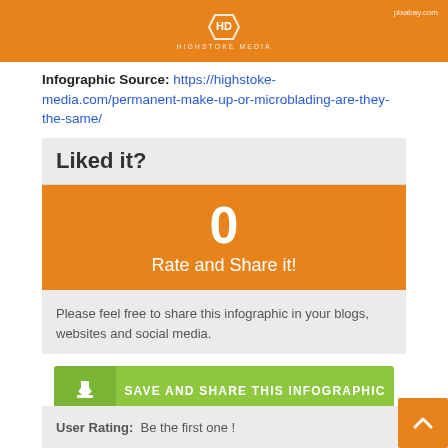[Figure (logo): Highstoke Media orange banner with logo icon and 'HIGHSTOKE MEDIA' text; 'pixabay.com' in upper right]
Infographic Source: https://highstoke-media.com/permanent-make-up-or-microblading-are-they-the-same/
Liked it?
0
Rate and Share it!
Please feel free to share this infographic in your blogs, websites and social media.
SAVE AND SHARE THIS INFOGRAPHIC
User Rating: Be the first one !